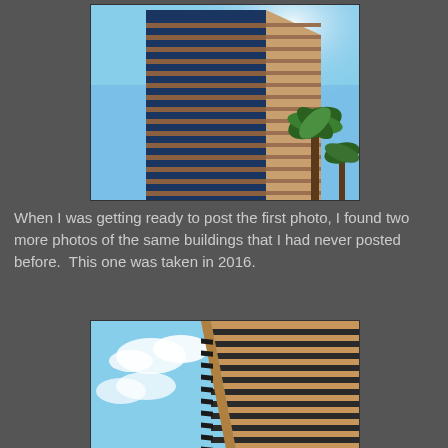[Figure (photo): Upward-angle photograph of a tall modern office building with blue glass and terracotta/brown horizontal banding. Palm trees visible on the right side. Bright blue sky in background. Photo taken from street level looking up.]
When I was getting ready to post the first photo, I found two more photos of the same buildings that I had never posted before.  This one was taken in 2016.
[Figure (photo): Upward-angle photograph of a tall modern office building with tan/brown and dark horizontal stripe banding. Blue sky with some white clouds visible. Photo taken in 2016.]